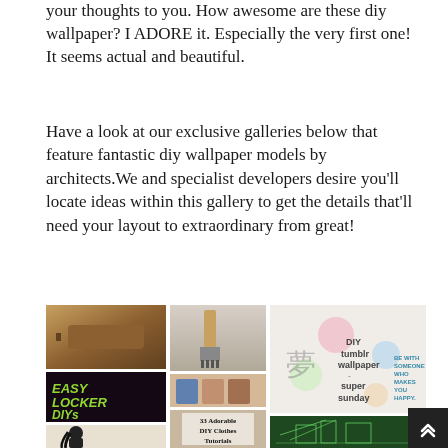your thoughts to you. How awesome are these diy wallpaper? I ADORE it. Especially the very first one! It seems actual and beautiful.
Have a look at our exclusive galleries below that feature fantastic diy wallpaper models by architects.We and specialist developers desire you’ll locate ideas within this gallery to get the details that’ll need your layout to extraordinary from great!
[Figure (photo): Grid of DIY wallpaper related images including a paint roller, paint brush on wall, 'Easy Locker DIYs' graphic, DIY clothes tutorials collage, silhouette illustration, DIY Tumblr Wallpaper graphic with text 'super sunday', and a green architectural sketch.]